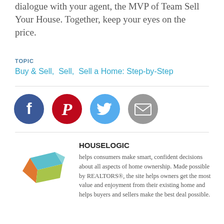dialogue with your agent, the MVP of Team Sell Your House. Together, keep your eyes on the price.
TOPIC
Buy & Sell,  Sell,  Sell a Home: Step-by-Step
[Figure (other): Social sharing icons: Facebook (dark blue circle), Pinterest (red circle), Twitter (light blue circle), Email (grey circle)]
[Figure (logo): HouseLogic logo: colorful 3D box made of teal, orange, and green geometric shapes]
HOUSELOGIC
helps consumers make smart, confident decisions about all aspects of home ownership. Made possible by REALTORS®, the site helps owners get the most value and enjoyment from their existing home and helps buyers and sellers make the best deal possible.